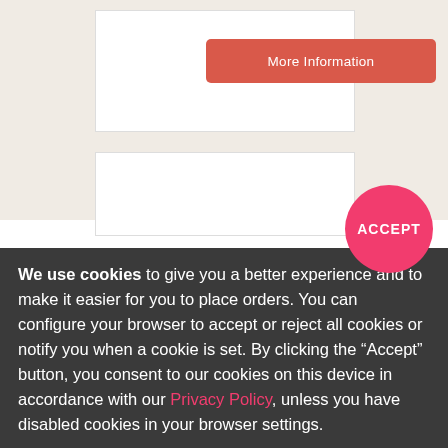[Figure (screenshot): A coral/red rounded button labeled 'More Information' on a light beige background, with a white card panel]
[Figure (screenshot): A white card panel below the first, partially visible]
[Figure (other): A circular pink/red ACCEPT button overlapping the dark background section]
We use cookies to give you a better experience and to make it easier for you to place orders. You can configure your browser to accept or reject all cookies or notify you when a cookie is set. By clicking the “Accept” button, you consent to our cookies on this device in accordance with our Privacy Policy, unless you have disabled cookies in your browser settings.